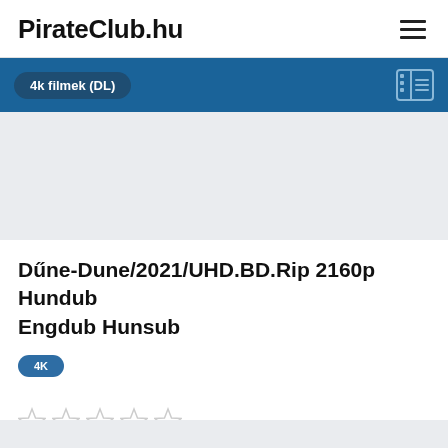PirateClub.hu
4k filmek (DL)
Dűne-Dune/2021/UHD.BD.Rip 2160p Hundub Engdub Hunsub
4K
★★★★★ (empty stars rating)
By BOKROSLALA, March 23 in 4k filmek (DL)